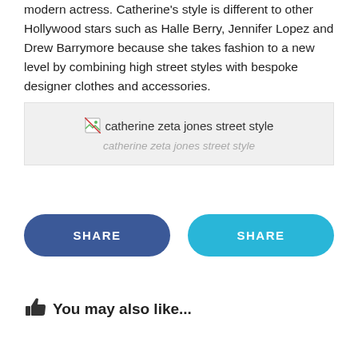modern actress. Catherine's style is different to other Hollywood stars such as Halle Berry, Jennifer Lopez and Drew Barrymore because she takes fashion to a new level by combining high street styles with bespoke designer clothes and accessories.
[Figure (photo): Broken image placeholder for 'catherine zeta jones street style' with italic caption below: 'catherine zeta jones street style']
SHARE (Facebook button) | SHARE (Twitter button)
👍 You may also like...